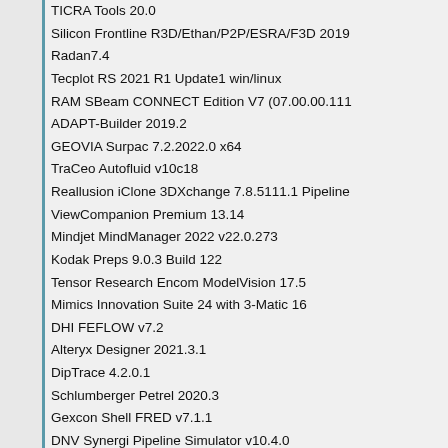TICRA Tools 20.0
Silicon Frontline R3D/Ethan/P2P/ESRA/F3D 2019
Radan7.4
Tecplot RS 2021 R1 Update1 win/linux
RAM SBeam CONNECT Edition V7 (07.00.00.111
ADAPT-Builder 2019.2
GEOVIA Surpac 7.2.2022.0 x64
TraCeo Autofluid v10c18
Reallusion iClone 3DXchange 7.8.5111.1 Pipeline
ViewCompanion Premium 13.14
Mindjet MindManager 2022 v22.0.273
Kodak Preps 9.0.3 Build 122
Tensor Research Encom ModelVision 17.5
Mimics Innovation Suite 24 with 3-Matic 16
DHI FEFLOW v7.2
Alteryx Designer 2021.3.1
DipTrace 4.2.0.1
Schlumberger Petrel 2020.3
Gexcon Shell FRED v7.1.1
DNV Synergi Pipeline Simulator v10.4.0
EVS□Earth Volumetric Studio□pro v2020.5
QuakeManager Advanced 2.0 x64
Itasca Griddle 2.00.12 for Rhinoceros 5.x/6.x/7.x 2
Schlumberger PetroMod 2020.1
Cyberlink PerfectCam Premium 2.3.4710.0